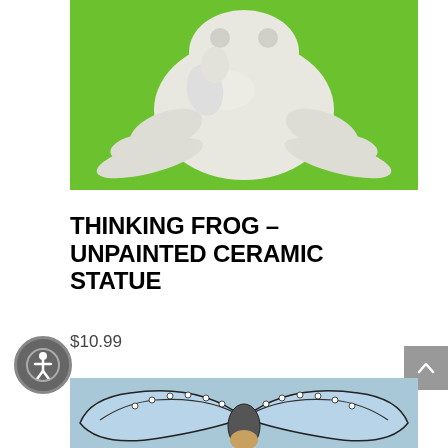[Figure (photo): Unpainted white ceramic frog statue lying flat on a bright green background, viewed from above.]
THINKING FROG – UNPAINTED CERAMIC STATUE
$10.99
[Figure (photo): Close-up of a decorative ceramic butterfly figure with blue wings edged with white dots and dark outlines, on a light blue background.]